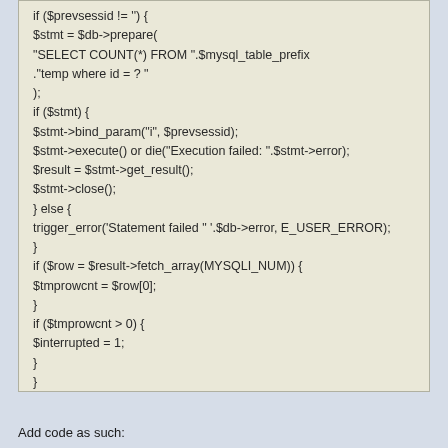[Figure (screenshot): Code block showing PHP code with database query, statement binding, execution, result fetching, and URL parsing logic on a beige/tan background]
Add code as such: